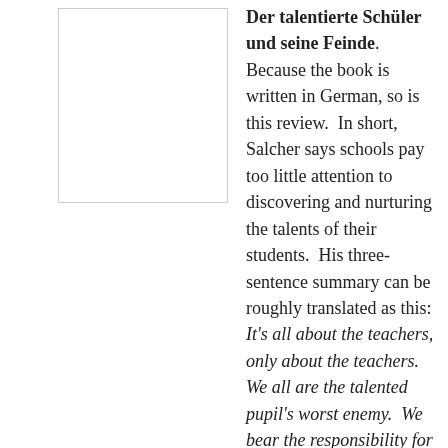[Figure (other): Book cover image placeholder (white box with border)]
Der talentierte Schüler und seine Feinde. Because the book is written in German, so is this review. In short, Salcher says schools pay too little attention to discovering and nurturing the talents of their students. His three-sentence summary can be roughly translated as this: It's all about the teachers, only about the teachers. We all are the talented pupil's worst enemy. We bear the responsibility for our children's talents.)
Andreas Salcher fasst sein Buch gleich selber in drei Sätzen zusammen: Es geht um die Lehrer – und nur um die Lehrer. Der grösste Feind des talentierten Schülers sind wir alle. Die Verantwortung für die Talente unserer Kinder liegt bei uns selbst. Die Zusammenfassung ist insofern interessant, als dass sie die Systemkritik, die einen Grossteil des Buches